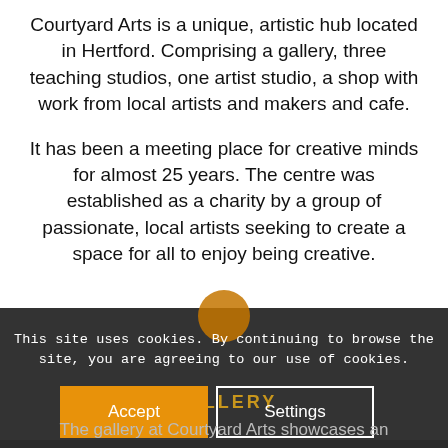Courtyard Arts is a unique, artistic hub located in Hertford. Comprising a gallery, three teaching studios, one artist studio, a shop with work from local artists and makers and cafe.
It has been a meeting place for creative minds for almost 25 years. The centre was established as a charity by a group of passionate, local artists seeking to create a space for all to enjoy being creative.
This site uses cookies. By continuing to browse the site, you are agreeing to our use of cookies.
Accept
Settings
The gallery at Courtyard Arts showcases an